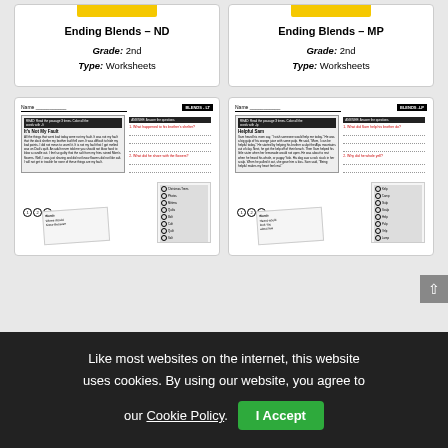Ending Blends – ND
Grade: 2nd
Type: Worksheets
Ending Blends – MP
Grade: 2nd
Type: Worksheets
[Figure (illustration): Worksheet preview for Ending Blends ND showing a reading passage titled 'It's Not My Fault', comprehension questions, numbered circles 1 2 3, a word cloud, and checkbox image matching activity.]
[Figure (illustration): Worksheet preview for Ending Blends MP showing a reading passage titled 'Helpful Sam', comprehension questions, numbered circles 1 2 3, a word cloud, and checkbox image matching activity.]
Like most websites on the internet, this website uses cookies. By using our website, you agree to our Cookie Policy.
I Accept